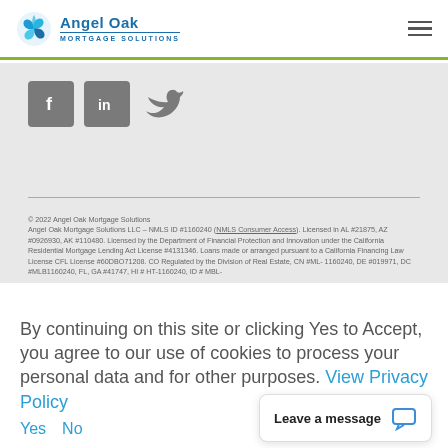[Figure (logo): Angel Oak Mortgage Solutions logo with blue leaf/circle icon and company name]
[Figure (infographic): Social media icons: Facebook, LinkedIn, Twitter in gray square boxes]
© 2022 Angel Oak Mortgage Solutions
Angel Oak Mortgage Solutions LLC – NMLS ID #1160240 (NMLS Consumer Access). Licensed in AL #21875, AZ #0926930, AK #110480. Licensed by the Department of Financial Protection and Innovation under the California Residential Mortgage Lending Act License #4131346. Loans made or arranged pursuant to a California Financing Law License CFL License #60DBO71208. CO Regulated by the Division of Real Estate, CN #ML-1160240, DE #019971, DC #MLB1160240, FL, GA #41747, HI # HT-1160240, ID # MBL-
By continuing on this site or clicking Yes to Accept, you agree to our use of cookies to process your personal data and for other purposes. View Privacy Policy
Yes   No
Leave a message